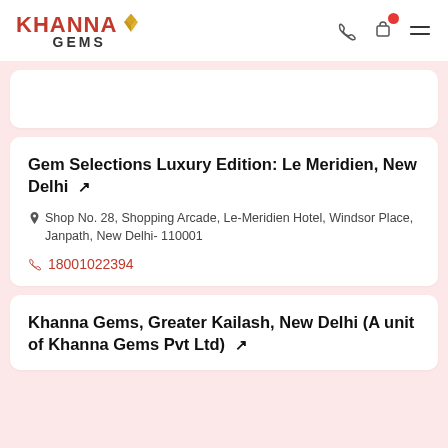KHANNA GEMS
Gem Selections Luxury Edition: Le Meridien, New Delhi
Shop No. 28, Shopping Arcade, Le-Meridien Hotel, Windsor Place, Janpath, New Delhi- 110001
18001022394
Khanna Gems, Greater Kailash, New Delhi (A unit of Khanna Gems Pvt Ltd)